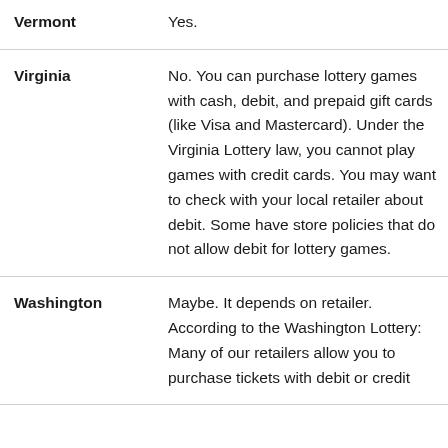| State | Information |
| --- | --- |
| Vermont | Yes. |
| Virginia | No. You can purchase lottery games with cash, debit, and prepaid gift cards (like Visa and Mastercard). Under the Virginia Lottery law, you cannot play games with credit cards. You may want to check with your local retailer about debit. Some have store policies that do not allow debit for lottery games. |
| Washington | Maybe. It depends on retailer. According to the Washington Lottery: Many of our retailers allow you to purchase tickets with debit or credit |